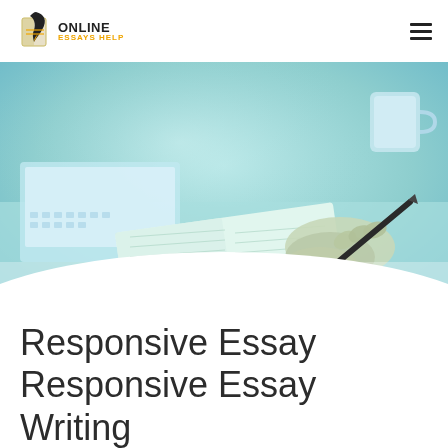[Figure (logo): Online Essays Help logo with feather quill and book icon, text ONLINE in bold and ESSAYS HELP in gold below]
[Figure (photo): A teal-tinted photo of a student's hands holding a pen over an open notebook on a desk, with a keyboard and cup visible in the background]
Responsive Essay
Responsive Essay Writing
Are you feeling tensed while overloaded with tons of essay